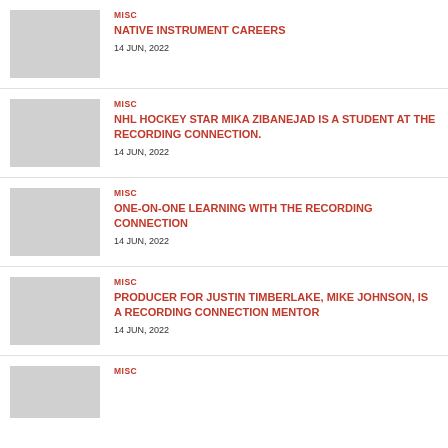MISC
NATIVE INSTRUMENT CAREERS
14 JUN, 2022
MISC
NHL HOCKEY STAR MIKA ZIBANEJAD IS A STUDENT AT THE RECORDING CONNECTION.
14 JUN, 2022
MISC
ONE-ON-ONE LEARNING WITH THE RECORDING CONNECTION
14 JUN, 2022
MISC
PRODUCER FOR JUSTIN TIMBERLAKE, MIKE JOHNSON, IS A RECORDING CONNECTION MENTOR
14 JUN, 2022
MISC